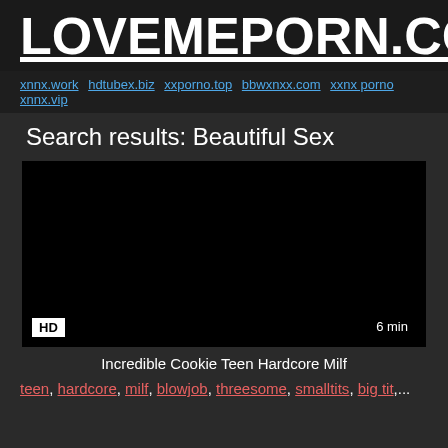LOVEMEPORN.COM
xnnx.work hdtubex.biz xxporno.top bbwxnxx.com xxnx porno xnnx.vip
Search results: Beautiful Sex
[Figure (screenshot): Black video thumbnail with HD badge in bottom-left and 6 min duration in bottom-right]
Incredible Cookie Teen Hardcore Milf
teen, hardcore, milf, blowjob, threesome, smalltits, big tit,...